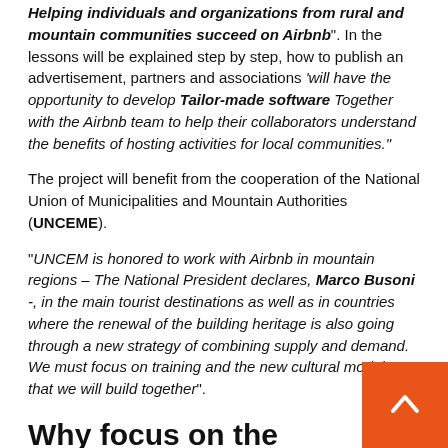Helping individuals and organizations from rural and mountain communities succeed on Airbnb". In the lessons will be explained step by step, how to publish an advertisement, partners and associations 'will have the opportunity to develop Tailor-made software Together with the Airbnb team to help their collaborators understand the benefits of hosting activities for local communities."
The project will benefit from the cooperation of the National Union of Municipalities and Mountain Authorities (UNCEME).
"UNCEM is honored to work with Airbnb in mountain regions – The National President declares, Marco Busoni -, in the main tourist destinations as well as in countries where the renewal of the building heritage is also going through a new strategy of combining supply and demand. We must focus on training and the new cultural models that we will build together".
Why focus on the mountains?
But why did Airbnb decide to invest energy to support tourism in the mountainous environment? "The mountain and its villages naturally represent a tourist destination with limited supply and easy saturation – explanation Giacomo Trovat, Regional Director of